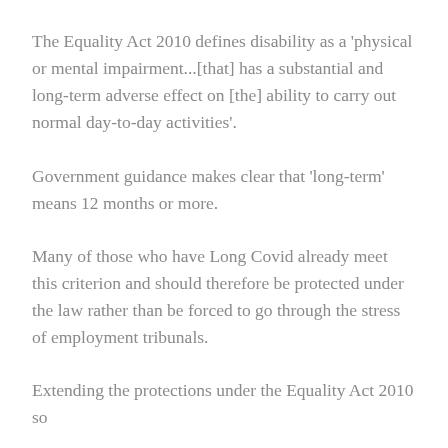The Equality Act 2010 defines disability as a 'physical or mental impairment...[that] has a substantial and long-term adverse effect on [the] ability to carry out normal day-to-day activities'.
Government guidance makes clear that 'long-term' means 12 months or more.
Many of those who have Long Covid already meet this criterion and should therefore be protected under the law rather than be forced to go through the stress of employment tribunals.
Extending the protections under the Equality Act 2010 so